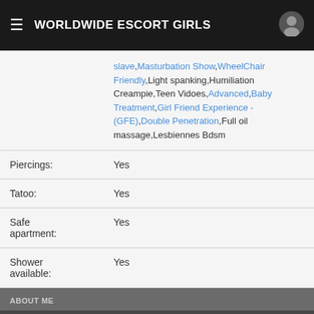WORLDWIDE ESCORT GIRLS
|  | slave,Masturbation Show,WheelChair Friendly,Light spanking,Humiliation Creampie,Teen Vidoes,Advanced,Baby Treatment,Girl Friend Experience - (GFE),Double Penetration,Full oil massage,Lesbiennes Bdsm |
| Piercings: | Yes |
| Tatoo: | Yes |
| Safe apartment: | Yes |
| Shower available: | Yes |
ABOUT ME
Mensura (24), Emmen, escort girl
J'aime beaucoup le sexe et j'ai d'excellentes co... Tu vas aimer la façon dont je me caresse, Juno. Préocc... par le su...